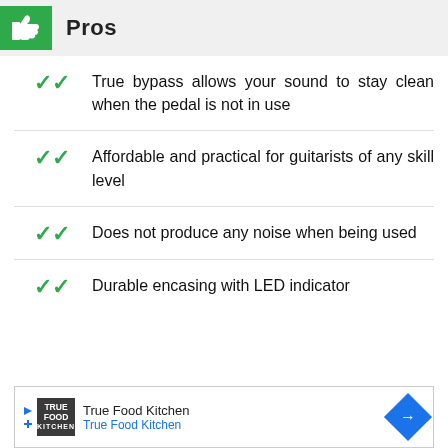Pros
True bypass allows your sound to stay clean when the pedal is not in use
Affordable and practical for guitarists of any skill level
Does not produce any noise when being used
Durable encasing with LED indicator
[Figure (infographic): Advertisement banner for True Food Kitchen showing logo, name, and navigation arrow icon]